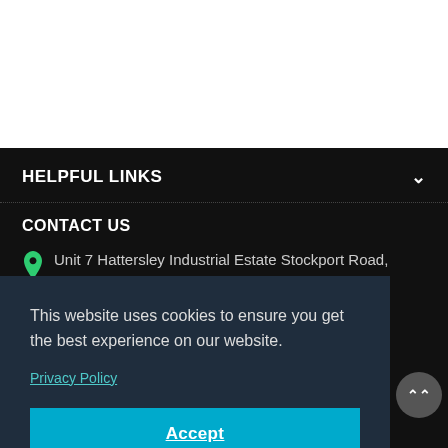HELPFUL LINKS
CONTACT US
Unit 7 Hattersley Industrial Estate Stockport Road, Hyde, SK14 3QT
0161 637 2294
This website uses cookies to ensure you get the best experience on our website.
Privacy Policy
Accept